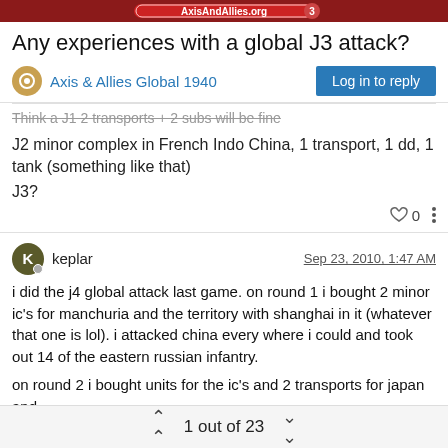[Figure (logo): Forum logo banner with red background]
Any experiences with a global J3 attack?
Axis & Allies Global 1940
think a J1 2 transports + 2 subs will be fine
J2 minor complex in French Indo China, 1 transport, 1 dd, 1 tank (something like that)
J3?
keplar  Sep 23, 2010, 1:47 AM
i did the j4 global attack last game. on round 1 i bought 2 minor ic's for manchuria and the territory with shanghai in it (whatever that one is lol). i attacked china every where i could and took out 14 of the eastern russian infantry.
on round 2 i bought units for the ic's and 2 transports for japan and
1 out of 23